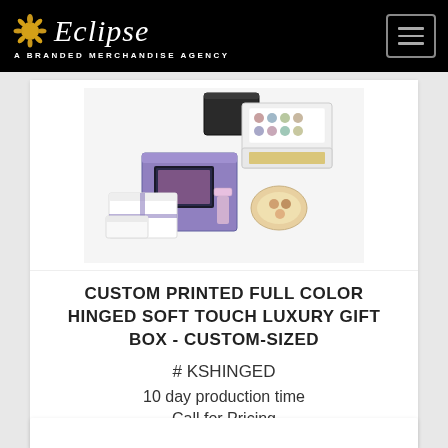Eclipse – A Branded Merchandise Agency
[Figure (photo): Product photo showing various custom printed hinged soft touch luxury gift boxes in different sizes and colors including purple, white, and multicolor designs]
CUSTOM PRINTED FULL COLOR HINGED SOFT TOUCH LUXURY GIFT BOX - CUSTOM-SIZED
# KSHINGED
10 day production time
Call for Pricing